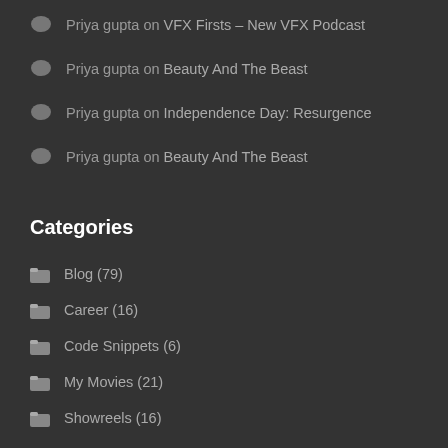Priya gupta on VFX Firsts – New VFX Podcast
Priya gupta on Beauty And The Beast
Priya gupta on Independence Day: Resurgence
Priya gupta on Beauty And The Beast
Categories
Blog (79)
Career (16)
Code Snippets (6)
My Movies (21)
Showreels (16)
Tips (18)